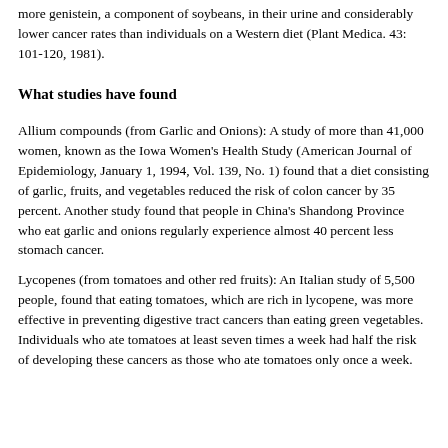more genistein, a component of soybeans, in their urine and considerably lower cancer rates than individuals on a Western diet (Plant Medica. 43: 101-120, 1981).
What studies have found
Allium compounds (from Garlic and Onions): A study of more than 41,000 women, known as the Iowa Women's Health Study (American Journal of Epidemiology, January 1, 1994, Vol. 139, No. 1) found that a diet consisting of garlic, fruits, and vegetables reduced the risk of colon cancer by 35 percent. Another study found that people in China's Shandong Province who eat garlic and onions regularly experience almost 40 percent less stomach cancer.
Lycopenes (from tomatoes and other red fruits): An Italian study of 5,500 people, found that eating tomatoes, which are rich in lycopene, was more effective in preventing digestive tract cancers than eating green vegetables. Individuals who ate tomatoes at least seven times a week had half the risk of developing these cancers as those who ate tomatoes only once a week.